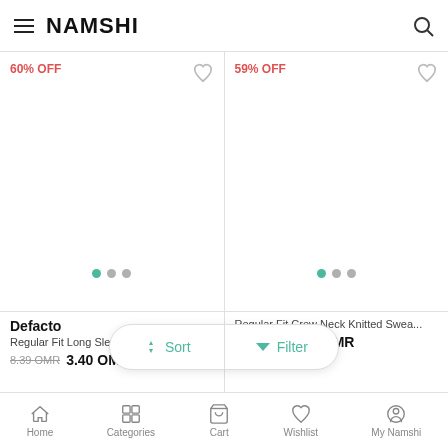NAMSHI
60% OFF
59% OFF
Defacto
Regular Fit Long Sleeve Printed Sw...
8.39 OMR  3.40 OMR
Regular Fit Crew Neck Knitted Swea...
7.96 OMR  3.29 OMR
Sort  Filter
Home  Categories  Cart  Wishlist  My Namshi